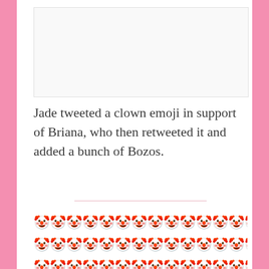[Figure (photo): Partially visible image placeholder at the top of the page]
Jade tweeted a clown emoji in support of Briana, who then retweeted it and added a bunch of Bozos.
[Figure (illustration): Multiple rows of clown face emojis (🤡) filling the lower portion of the page]